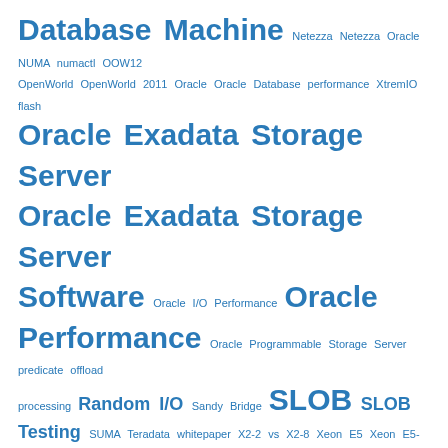Database Machine Netezza Netezza Oracle NUMA numactl OOW12 OpenWorld OpenWorld 2011 Oracle Oracle Database performance XtremIO flash Oracle Exadata Storage Server Oracle Exadata Storage Server Software Oracle I/O Performance Oracle Performance Oracle Programmable Storage Server predicate offload processing Random I/O Sandy Bridge SLOB SLOB Testing SUMA Teradata whitepaper X2-2 vs X2-8 Xeon E5 Xeon E5-2600 Xeon E7 Performance XtremIO
Copyright
All content is © Kevin Closson and "Kevin Closson's Blog: Platforms,